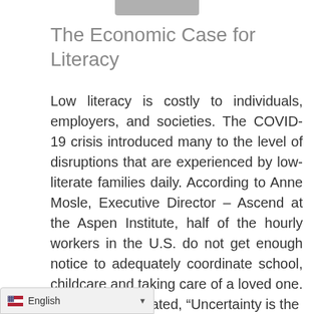The Economic Case for Literacy
Low literacy is costly to individuals, employers, and societies. The COVID-19 crisis introduced many to the level of disruptions that are experienced by low-literate families daily. According to Anne Mosle, Executive Director – Ascend at the Aspen Institute, half of the hourly workers in the U.S. do not get enough notice to adequately coordinate school, childcare and taking care of a loved one. She also then stated, “Uncertainty is the